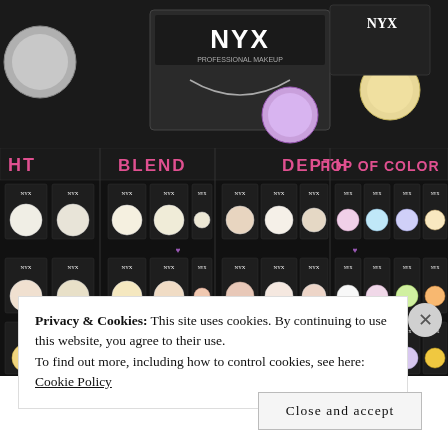[Figure (photo): NYX cosmetics products on a dark display shelf — top portion showing eye shadow palettes with NYX logo and purple/cream/yellow shadow pans]
[Figure (photo): NYX cosmetics eyeshadow singles display shelf with section labels: BLEND, DEPTH, POP OF COLOR in pink text on black header bar. Multiple rows of individual NYX eyeshadow pans in white, cream, peach, lavender, green, orange, yellow, and other colors arranged in product packages on dark shelving.]
Privacy & Cookies: This site uses cookies. By continuing to use this website, you agree to their use.
To find out more, including how to control cookies, see here: Cookie Policy
Close and accept